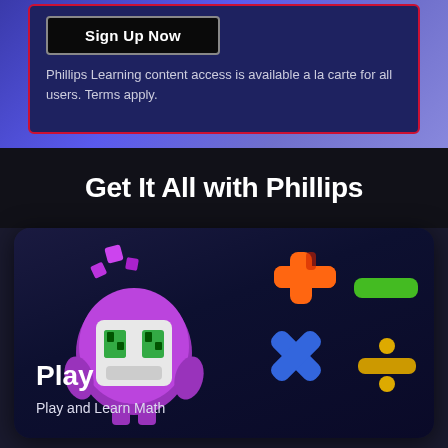Sign Up Now
Phillips Learning content access is available a la carte for all users. Terms apply.
Get It All with Phillips
[Figure (illustration): A purple cartoon robot character with green eyes and floating colored cubes above its head, alongside orange plus sign, green minus sign, blue multiplication sign, and gold division sign math symbols on a dark blue background. Text overlay: 'Play' and 'Play and Learn Math'.]